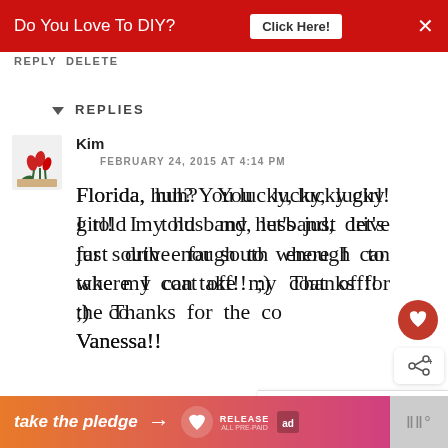Do You Love To DIY?  Click Here!  ×
REPLY DELETE
▼  REPLIES
Kim
FEBRUARY 24, 2015 AT 4:14 PM
Florida, huh? You lucky, lucky girl! I told my husband, let's just drive far south enough to where I can take my coat off!! ;)  Thanks for the comment, Vanessa!!
DELETE
take the pledge →  RELEASE  [ad]  |||°